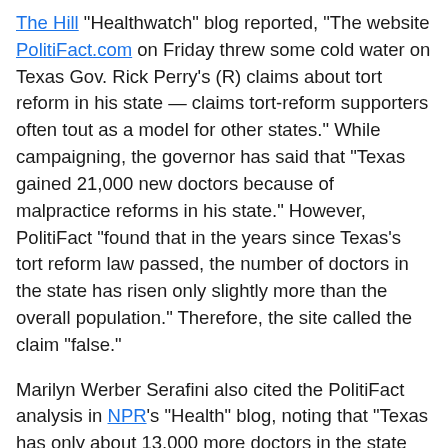The Hill "Healthwatch" blog reported, "The website PolitiFact.com on Friday threw some cold water on Texas Gov. Rick Perry's (R) claims about tort reform in his state — claims tort-reform supporters often tout as a model for other states." While campaigning, the governor has said that "Texas gained 21,000 new doctors because of malpractice reforms in his state." However, PolitiFact "found that in the years since Texas's tort reform law passed, the number of doctors in the state has risen only slightly more than the overall population." Therefore, the site called the claim "false."
Marilyn Werber Serafini also cited the PolitiFact analysis in NPR's "Health" blog, noting that "Texas has only about 13,000 more doctors in the state and the historic trends suggest that population growth was the driving factor." PolitiFact's Jon Greenberg also noted other aspects of "PerryCare," including that "'Rick Perry believes the best way for the federal government to...